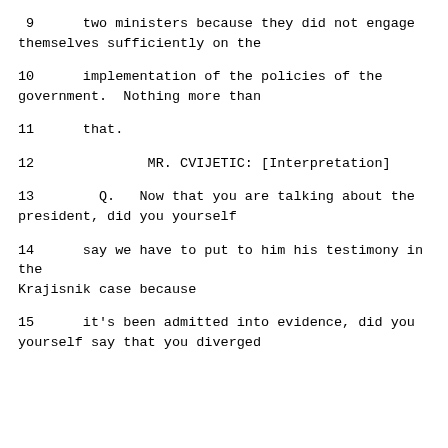9      two ministers because they did not engage themselves sufficiently on the
10      implementation of the policies of the government.  Nothing more than
11      that.
12              MR. CVIJETIC: [Interpretation]
13        Q.   Now that you are talking about the president, did you yourself
14      say we have to put to him his testimony in the Krajisnik case because
15      it's been admitted into evidence, did you yourself say that you diverged